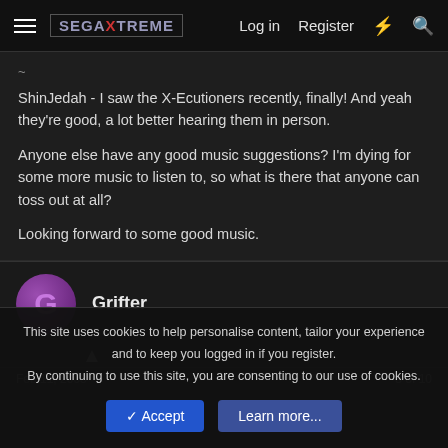SegaXtreme — Log in | Register
ShinJedah - I saw the X-Ecutioners recently, finally! And yeah they're good, a lot better hearing them in person.
Anyone else have any good music suggestions? I'm dying for some more music to listen to, so what is there that anyone can toss out at all?
Looking forward to some good music.
Grifter
This site uses cookies to help personalise content, tailor your experience and to keep you logged in if you register.
By continuing to use this site, you are consenting to our use of cookies.